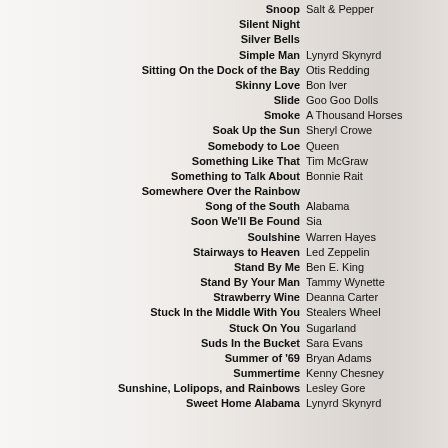Snoop  Salt & Pepper
Silent Night
Silver Bells
Simple Man  Lynyrd Skynyrd
Sitting On the Dock of the Bay  Otis Redding
Skinny Love  Bon Iver
Slide  Goo Goo Dolls
Smoke  A Thousand Horses
Soak Up the Sun  Sheryl Crowe
Somebody to Loe  Queen
Something Like That  Tim McGraw
Something to Talk About  Bonnie Rait
Somewhere Over the Rainbow
Song of the South  Alabama
Soon We'll Be Found  Sia
Soulshine  Warren Hayes
Stairways to Heaven  Led Zeppelin
Stand By Me  Ben E. King
Stand By Your Man  Tammy Wynette
Strawberry Wine  Deanna Carter
Stuck In the Middle With You  Stealers Wheel
Stuck On You  Sugarland
Suds In the Bucket  Sara Evans
Summer of '69  Bryan Adams
Summertime  Kenny Chesney
Sunshine, Lolipops, and Rainbows  Lesley Gore
Sweet Home Alabama  Lynyrd Skynyrd